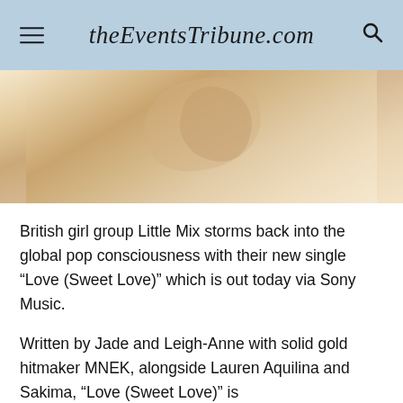theEventsTribune.com
[Figure (photo): Close-up photo of a person in a beige/cream fabric, with arms crossed and a ring visible on one hand]
British girl group Little Mix storms back into the global pop consciousness with their new single “Love (Sweet Love)” which is out today via Sony Music.
Written by Jade and Leigh-Anne with solid gold hitmaker MNEK, alongside Lauren Aquilina and Sakima, “Love (Sweet Love)” is